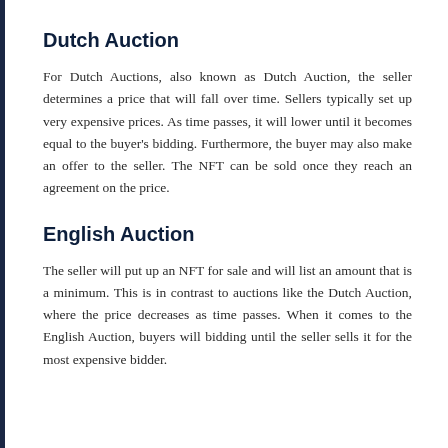Dutch Auction
For Dutch Auctions, also known as Dutch Auction, the seller determines a price that will fall over time. Sellers typically set up very expensive prices. As time passes, it will lower until it becomes equal to the buyer's bidding. Furthermore, the buyer may also make an offer to the seller. The NFT can be sold once they reach an agreement on the price.
English Auction
The seller will put up an NFT for sale and will list an amount that is a minimum. This is in contrast to auctions like the Dutch Auction, where the price decreases as time passes. When it comes to the English Auction, buyers will bidding until the seller sells it for the most expensive bidder.